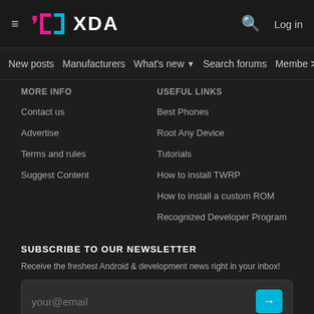XDA Developers header with logo, search, and Log in
New posts  Manufacturers  What's new  Search forums  Membe  >
MORE INFO
Contact us
Advertise
Terms and rules
Suggest Content
USEFUL LINKS
Best Phones
Root Any Device
Tutorials
How to install TWRP
How to install a custom ROM
Recognized Developer Program
SUBSCRIBE TO OUR NEWSLETTER
Receive the freshest Android & development news right in your inbox!
your@email